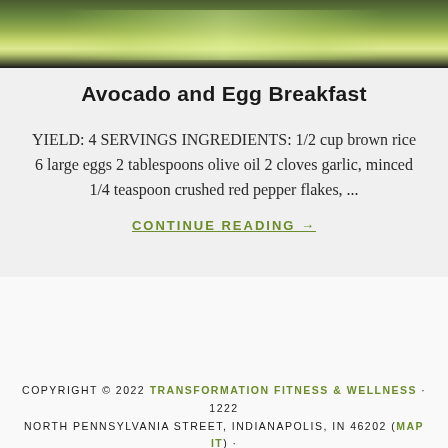[Figure (photo): Photo of avocado slices and hard-boiled eggs on a dark plate]
Avocado and Egg Breakfast
YIELD: 4 SERVINGS INGREDIENTS: 1/2 cup brown rice 6 large eggs 2 tablespoons olive oil 2 cloves garlic, minced 1/4 teaspoon crushed red pepper flakes, ...
CONTINUE READING →
COPYRIGHT © 2022 TRANSFORMATION FITNESS & WELLNESS · 1222 NORTH PENNSYLVANIA STREET, INDIANAPOLIS, IN 46202 (MAP IT) · PHONE: 317-927-9689